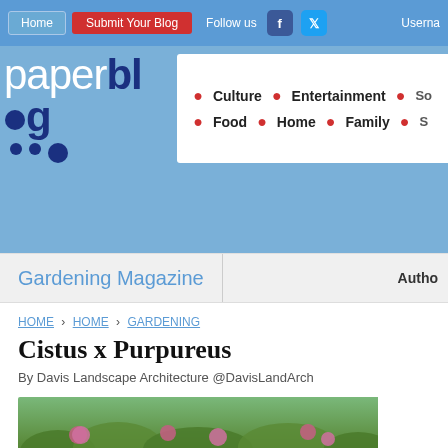Home | Submit Your Blog | Follow us | Username
[Figure (logo): Paperblog logo with blue text and dots, on blue background with category menu showing Culture, Entertainment, Food, Home, Family]
Gardening Magazine | Author
HOME › HOME › GARDENING
Cistus x Purpureus
By Davis Landscape Architecture @DavisLandArch
[Figure (photo): Garden photo showing Cistus x Purpureus plant with pink flowers and green foliage]